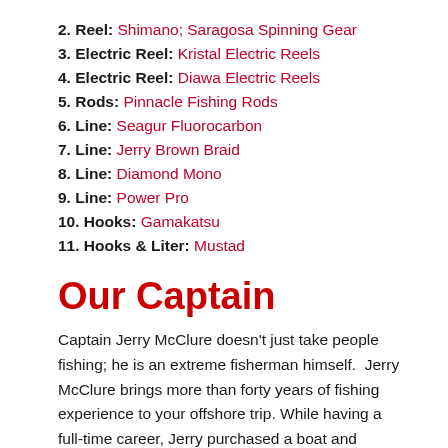2. Reel: Shimano; Saragosa Spinning Gear
3. Electric Reel: Kristal Electric Reels
4. Electric Reel: Diawa Electric Reels
5. Rods: Pinnacle Fishing Rods
6. Line: Seagur Fluorocarbon
7. Line: Jerry Brown Braid
8. Line: Diamond Mono
9. Line: Power Pro
10. Hooks: Gamakatsu
11. Hooks & Liter: Mustad
Our Captain
Captain Jerry McClure doesn't just take people fishing; he is an extreme fisherman himself.  Jerry McClure brings more than forty years of fishing experience to your offshore trip. While having a full-time career, Jerry purchased a boat and started an